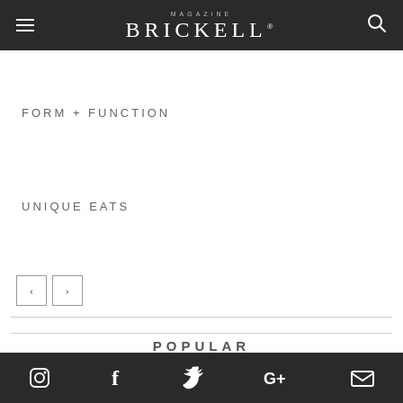MAGAZINE BRICKELL
FORM + FUNCTION
UNIQUE EATS
< >
POPULAR
Instagram, Facebook, Twitter, Google+, Email